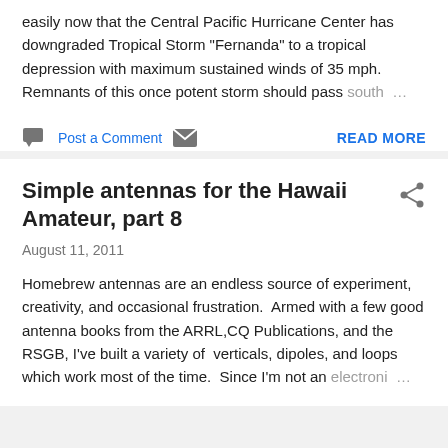easily now that the Central Pacific Hurricane Center has downgraded Tropical Storm "Fernanda" to a tropical depression with maximum sustained winds of 35 mph. Remnants of this once potent storm should pass south …
Post a Comment   READ MORE
Simple antennas for the Hawaii Amateur, part 8
August 11, 2011
Homebrew antennas are an endless source of experiment, creativity, and occasional frustration.  Armed with a few good antenna books from the ARRL,CQ Publications, and the RSGB, I've built a variety of  verticals, dipoles, and loops which work most of the time.  Since I'm not an electroni …